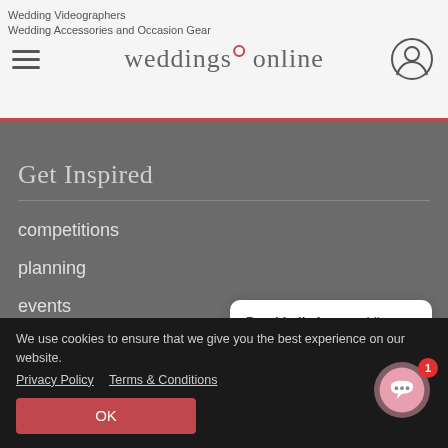weddingsonline — Wedding Videographers, Wedding Accessories and Occasion Wear
Get Inspired
competitions
planning
events
blog
real weddings
[Figure (screenshot): Chat popup with avatar of Dearbhaile. Text reads: 'Dearbhaile from weddings... Hi, I'm Dearbhaile, your totally free wedding...']
We use cookies to ensure that we give you the best experience on our website. Privacy Policy   Terms & Conditions
OK